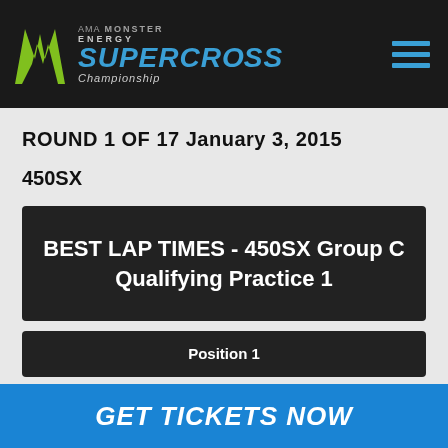Monster Energy AMA Supercross Championship
ROUND 1 OF 17 January 3, 2015
450SX
BEST LAP TIMES - 450SX Group C Qualifying Practice 1
Position 1
GET TICKETS NOW